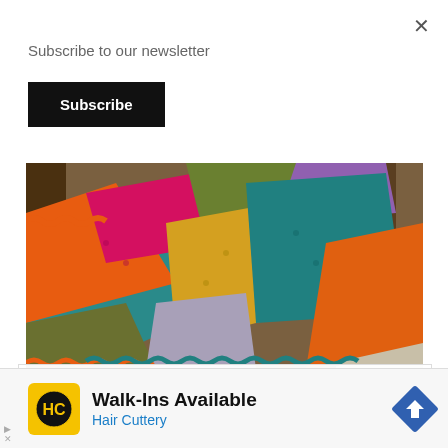×
Subscribe to our newsletter
Subscribe
[Figure (photo): A colorful crocheted granny square blanket draped over a wooden chair, showing patches of orange, teal, yellow, pink, purple, green, and gray yarn with decorative edging.]
Privacy & Cookies: This site uses cookies. By continuing to use this site, you agree to their use.
d out more, including how to control cookies, see here: Cookie
[Figure (other): Advertisement banner for Hair Cuttery. Shows HC logo in yellow square, text 'Walk-Ins Available' and 'Hair Cuttery' in blue, and a blue road sign icon.]